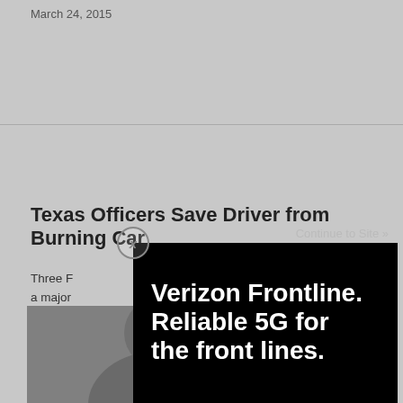March 24, 2015
Texas Officers Save Driver from Burning Car
Three F... iding to a major... urning vehicle f... 20 early Thursda...
March 2...
[Figure (infographic): Verizon Frontline advertisement overlay with text 'Verizon Frontline. Reliable 5G for the front lines.' with Verizon logo, 'Learn more >' button, fine print disclaimer, close button (X), and 'Continue to Site »' link.]
[Figure (photo): Partial photo of a person's face, darkly lit, appearing at the bottom of the page.]